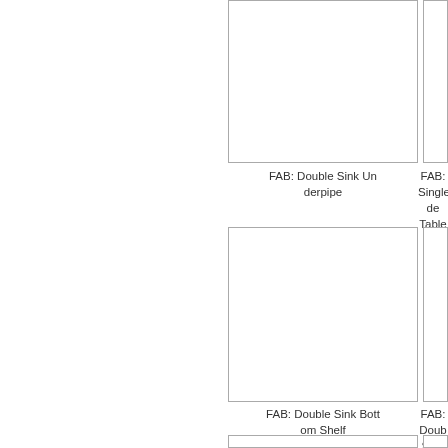[Figure (illustration): Empty box placeholder for FAB: Double Sink Underpipe product image]
FAB: Double Sink Underpipe
[Figure (illustration): Partially visible empty box placeholder for FAB: Single de Table U product image]
FAB: Single de Table U
[Figure (illustration): Empty box placeholder for FAB: Double Sink Bottom Shelf product image]
FAB: Double Sink Bottom Shelf
[Figure (illustration): Partially visible empty box placeholder for FAB: Doub Side Table product image]
FAB: Doub Side Table
[Figure (illustration): Partially visible empty box placeholder at bottom left]
[Figure (illustration): Partially visible empty box placeholder at bottom right]